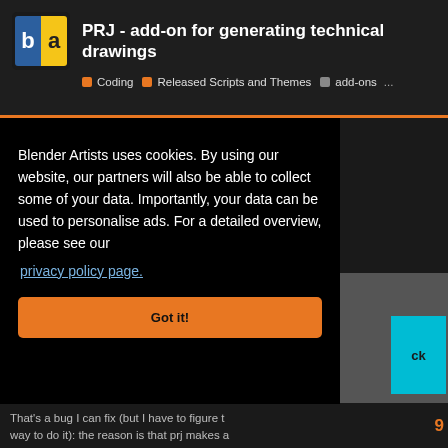PRJ - add-on for generating technical drawings | Coding | Released Scripts and Themes | add-ons ...
[Figure (screenshot): Dark background area showing website content beneath the cookie modal]
Blender Artists uses cookies. By using our website, our partners will also be able to collect some of your data. Importantly, your data can be used to personalise ads. For a detailed overview, please see our privacy policy page.
Got it!
Jun 6
9
That's a bug I can fix (but I have to figure t way to do it): the reason is that prj makes a